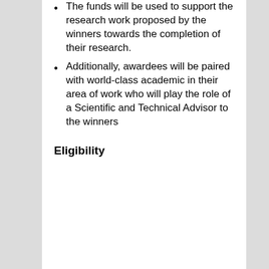The funds will be used to support the research work proposed by the winners towards the completion of their research.
Additionally, awardees will be paired with world-class academic in their area of work who will play the role of a Scientific and Technical Advisor to the winners
Eligibility